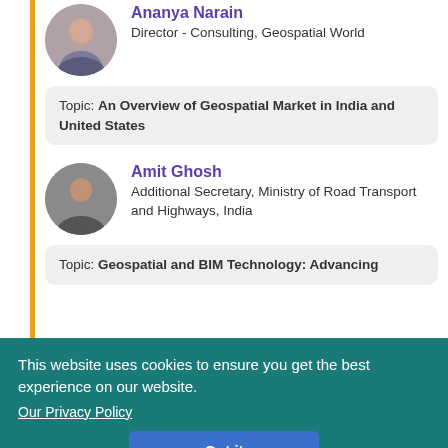[Figure (photo): Circular profile photo of Ananya Narain]
Ananya Narain
Director - Consulting, Geospatial World
Topic: An Overview of Geospatial Market in India and United States
[Figure (photo): Circular profile photo of Amit Ghosh]
Amit Ghosh
Additional Secretary, Ministry of Road Transport and Highways, India
Topic: Geospatial and BIM Technology: Advancing Sustainable Transport
This website uses cookies to ensure you get the best experience on our website.
Our Privacy Policy
Got it
Harold Martin
Director, National Coordination Office for Space-Based Positioning, Navigation and Timing, Department of Transportation, US